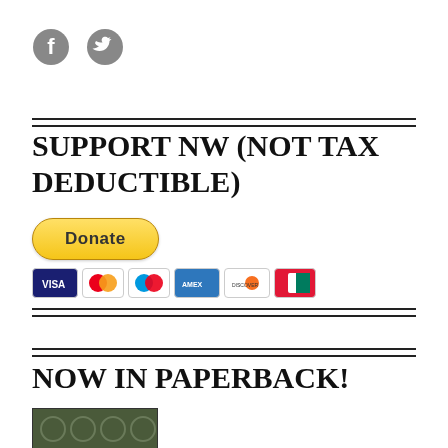[Figure (logo): Facebook and Twitter social media icons in grey]
SUPPORT NW (NOT TAX DEDUCTIBLE)
[Figure (other): PayPal Donate button with payment card icons (Visa, Mastercard, Maestro, Amex, Discover, Union Pay)]
NOW IN PAPERBACK!
[Figure (photo): Book cover with dark green patterned background]